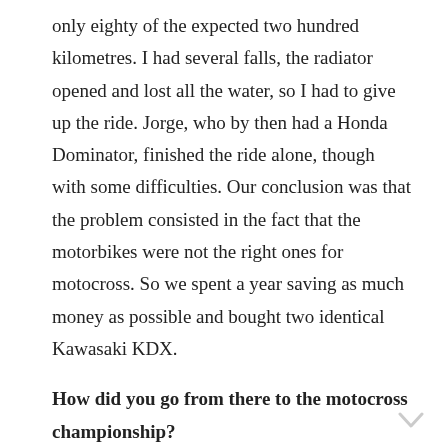only eighty of the expected two hundred kilometres. I had several falls, the radiator opened and lost all the water, so I had to give up the ride. Jorge, who by then had a Honda Dominator, finished the ride alone, though with some difficulties. Our conclusion was that the problem consisted in the fact that the motorbikes were not the right ones for motocross. So we spent a year saving as much money as possible and bought two identical Kawasaki KDX.
How did you go from there to the motocross championship?
At this point, we started our weekend rides. We and a group of friends would go around the country. Until someone challenged me to enter a competition. I didn't want to. I felt unable, lacking physical conditions … lacking technical skills! But they kept saying the same thing again and again and I started thinking: «Is it possible that they are right? Will I be able?» … and I went! The competition